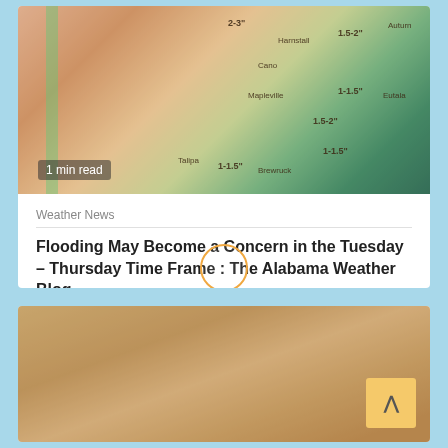[Figure (map): Weather map showing snowfall accumulation amounts across a region, with colored zones indicating different snowfall ranges (1-1.5 inches to 2-3 inches). Various city names and snowfall labels are overlaid on the map.]
1 min read
Weather News
Flooding May Become a Concern in the Tuesday – Thursday Time Frame : The Alabama Weather Blog
2 hours ago   eWeatherNews RSS Feed
[Figure (photo): Blurred close-up photo of food items, appearing to be breaded or baked snacks/appetizers with a small dipping sauce bowl visible in the background.]